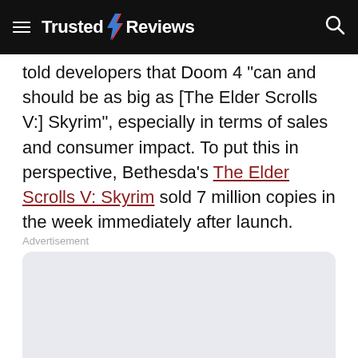Trusted Reviews
told developers that Doom 4 “can and should be as big as [The Elder Scrolls V:] Skyrim”, especially in terms of sales and consumer impact. To put this in perspective, Bethesda’s The Elder Scrolls V: Skyrim sold 7 million copies in the week immediately after launch.
Advertisement